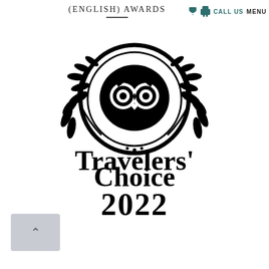(ENGLISH) AWARDS
CALL US  MENU
[Figure (logo): TripAdvisor Travelers' Choice 2022 award logo — an owl face inside a circle surrounded by laurel branches, with bold text 'Travelers' Choice' and '2022' below]